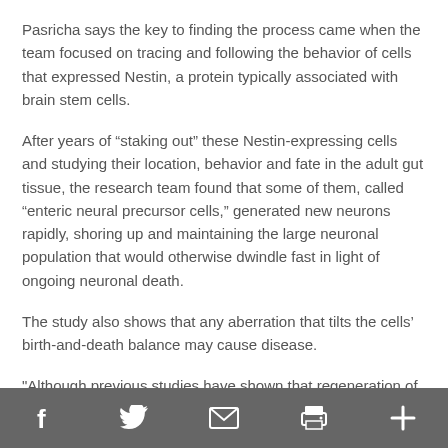Pasricha says the key to finding the process came when the team focused on tracing and following the behavior of cells that expressed Nestin, a protein typically associated with brain stem cells.
After years of “staking out” these Nestin-expressing cells and studying their location, behavior and fate in the adult gut tissue, the research team found that some of them, called “enteric neural precursor cells,” generated new neurons rapidly, shoring up and maintaining the large neuronal population that would otherwise dwindle fast in light of ongoing neuronal death.
The study also shows that any aberration that tilts the cells’ birth-and-death balance may cause disease.
"Although previous studies have shown that regeneration of
social share bar with Facebook, Twitter, email, print, and plus icons